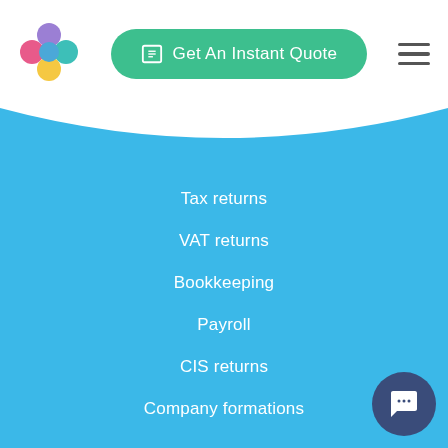[Figure (logo): Colorful circle logo with pink, blue, teal, yellow, and purple circles arranged in a cross/flower pattern]
[Figure (other): Green rounded button with calculator icon labeled 'Get An Instant Quote']
[Figure (other): Hamburger menu icon (three horizontal lines)]
Tax returns
VAT returns
Bookkeeping
Payroll
CIS returns
Company formations
Resources
Plans and pricing
Making Tax Digital support
COVID-19 support